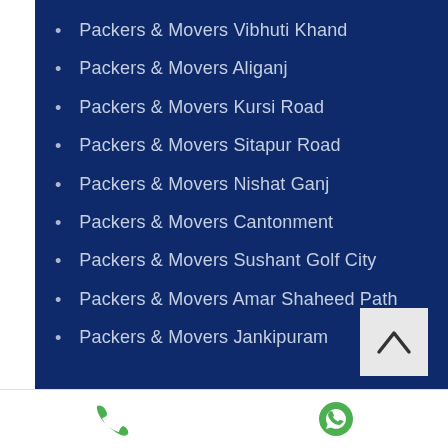Packers & Movers Vibhuti Khand
Packers & Movers Aliganj
Packers & Movers Kursi Road
Packers & Movers Sitapur Road
Packers & Movers Nishat Ganj
Packers & Movers Cantonment
Packers & Movers Sushant Golf City
Packers & Movers Amar Shaheed Path
Packers & Movers Jankipuram
[Figure (screenshot): Mobile app footer bar with phone call icon and WhatsApp icon on white background]